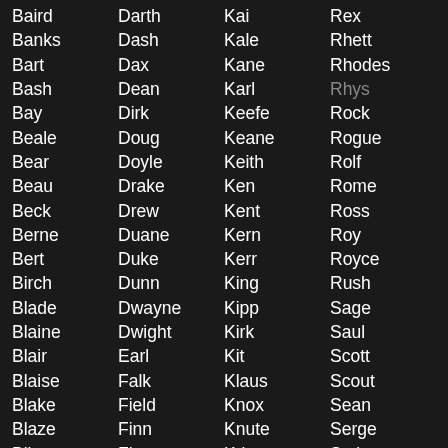Baird, Banks, Bart, Bash, Bay, Beale, Bear, Beau, Beck, Berne, Bert, Birch, Blade, Blaine, Blair, Blaise, Blake, Blaze, Bliss, Blue, Bond, Boone | Darth, Dash, Dax, Dean, Dirk, Doug, Doyle, Drake, Drew, Duane, Duke, Dunn, Dwayne, Dwight, Earl, Falk, Field, Finn, Fionn, Fisk, Flint, Floyd | Kai, Kale, Kane, Karl, Keefe, Keane, Keith, Ken, Kent, Kern, Kerr, King, Kipp, Kirk, Kit, Klaus, Knox, Knute, Kris, Kurt, Kyle, Laird | Rex, Rhett, Rhodes, Rhys, Rock, Rogue, Rolf, Rome, Ross, Roy, Royce, Rush, Sage, Saul, Scott, Scout, Sean, Serge, Seth, Shae, Shane, Shaun